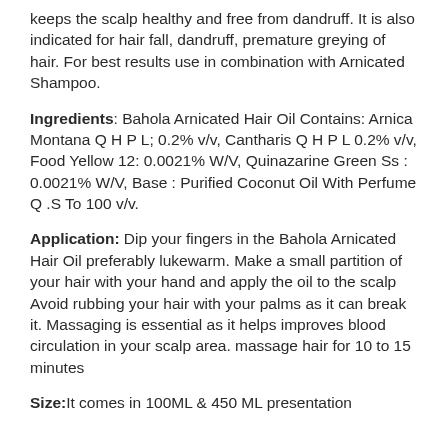keeps the scalp healthy and free from dandruff. It is also indicated for hair fall, dandruff, premature greying of hair. For best results use in combination with Arnicated Shampoo.
Ingredients: Bahola Arnicated Hair Oil Contains: Arnica Montana Q H P L; 0.2% v/v, Cantharis Q H P L 0.2% v/v, Food Yellow 12: 0.0021% W/V, Quinazarine Green Ss : 0.0021% W/V, Base : Purified Coconut Oil With Perfume Q .S To 100 v/v.
Application: Dip your fingers in the Bahola Arnicated Hair Oil preferably lukewarm. Make a small partition of your hair with your hand and apply the oil to the scalp Avoid rubbing your hair with your palms as it can break it. Massaging is essential as it helps improves blood circulation in your scalp area. massage hair for 10 to 15 minutes
Size: It comes in 100ML & 450 ML presentation